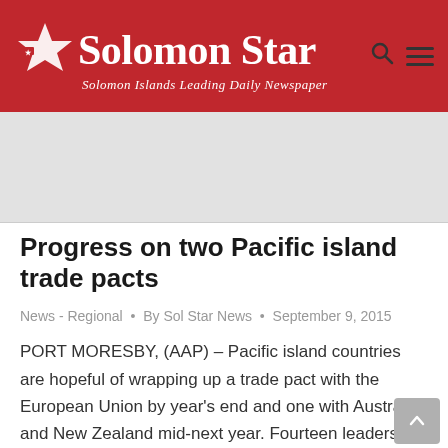[Figure (logo): Solomon Star newspaper logo with red background, white star icon, bold white serif site name 'Solomon Star', and italic white tagline 'Solomon Islands Leading Daily Newspaper']
[Figure (other): Gray advertisement banner placeholder]
Progress on two Pacific island trade pacts
News - Regional • By Sol Star News • September 9, 2015
PORT MORESBY, (AAP) – Pacific island countries are hopeful of wrapping up a trade pact with the European Union by year's end and one with Australia and New Zealand mid-next year. Fourteen leaders discussed trade agreement negotiation progress and labour mobility on Tuesday in Port Moresby, ahead of the Pacific Island Forum leaders summit and…